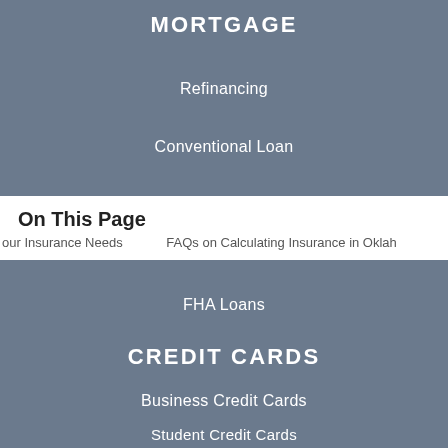MORTGAGE
Refinancing
Conventional Loan
On This Page
our Insurance Needs   FAQs on Calculating Insurance in Oklah
FHA Loans
CREDIT CARDS
Business Credit Cards
Student Credit Cards
Balance Transfer Cards
Credit Cards with Rewards
Travel Credit Cards